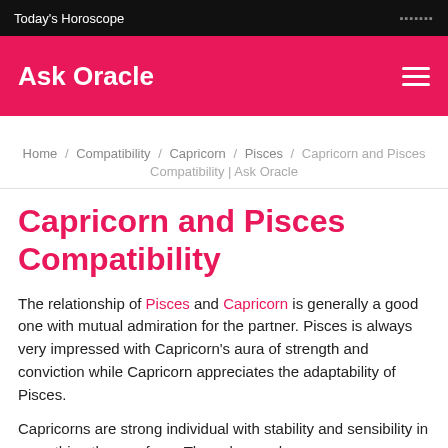Today's Horoscope
Ask Oracle
Home / Compatibility / Capricorn / Pisces / Capricorn and Pisces Compatibility | Ask Oracle
Capricorn and Pisces Compatibility
The relationship of Pisces and Capricorn is generally a good one with mutual admiration for the partner. Pisces is always very impressed with Capricorn's aura of strength and conviction while Capricorn appreciates the adaptability of Pisces.
Capricorns are strong individual with stability and sensibility in everything they perform. They always choose